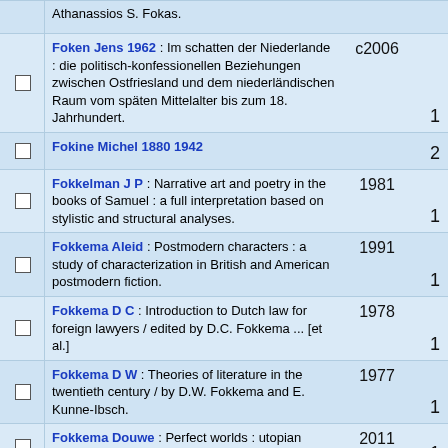Athanassios S. Fokas.
Foken Jens 1962 : Im schatten der Niederlande : die politisch-konfessionellen Beziehungen zwischen Ostfriesland und dem niederländischen Raum vom späten Mittelalter bis zum 18. Jahrhundert. c2006 1
Fokine Michel 1880 1942 2
Fokkelman J P : Narrative art and poetry in the books of Samuel : a full interpretation based on stylistic and structural analyses. 1981 1
Fokkema Aleid : Postmodern characters : a study of characterization in British and American postmodern fiction. 1991 1
Fokkema D C : Introduction to Dutch law for foreign lawyers / edited by D.C. Fokkema ... [et al.] 1978 1
Fokkema D W : Theories of literature in the twentieth century / by D.W. Fokkema and E. Kunne-Ibsch. 1977 1
Fokkema Douwe : Perfect worlds : utopian fiction in China and the West / Douwe Fokkema. 2011 1
Fokkema K 4
Fokkema N J : Microbiology of the phyllosphere / edited by N.J. Fokkema and J. van den Heuvel. 1986 1
Fokkema Redbag : Varianten bij Achterberg... 1973 1